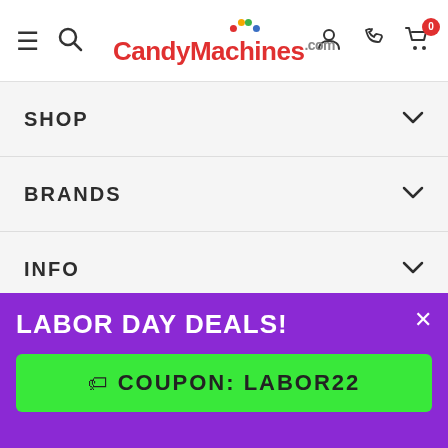CandyMachines.com header with hamburger menu, search, logo, user, phone, and cart icons
SHOP
BRANDS
INFO
HELPFUL LINKS
LEGALS
LABOR DAY DEALS!
🏷 COUPON: LABOR22